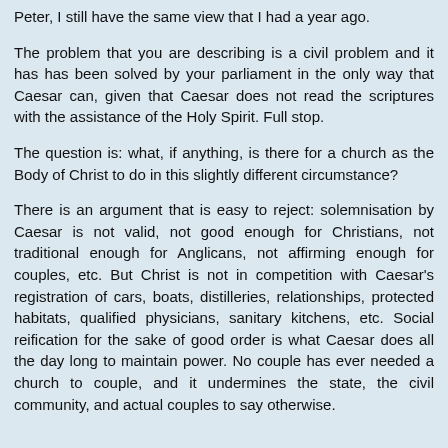Peter, I still have the same view that I had a year ago.
The problem that you are describing is a civil problem and it has has been solved by your parliament in the only way that Caesar can, given that Caesar does not read the scriptures with the assistance of the Holy Spirit. Full stop.
The question is: what, if anything, is there for a church as the Body of Christ to do in this slightly different circumstance?
There is an argument that is easy to reject: solemnisation by Caesar is not valid, not good enough for Christians, not traditional enough for Anglicans, not affirming enough for couples, etc. But Christ is not in competition with Caesar's registration of cars, boats, distilleries, relationships, protected habitats, qualified physicians, sanitary kitchens, etc. Social reification for the sake of good order is what Caesar does all the day long to maintain power. No couple has ever needed a church to couple, and it undermines the state, the civil community, and actual couples to say otherwise.